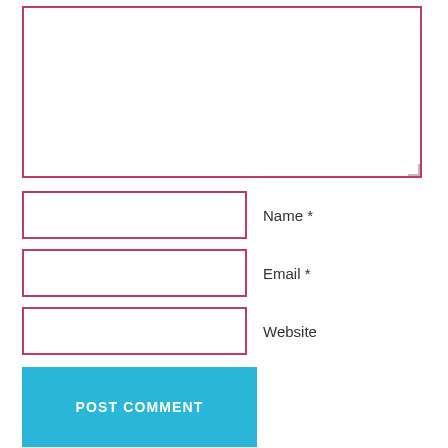[Figure (screenshot): A web comment form with a large textarea, Name, Email, Website input fields with pink/red borders, a blue POST COMMENT button, a checked checkbox with label 'Notify me of follow-up comments via e-mail', and a spam notice with a link.]
Name *
Email *
Website
POST COMMENT
Notify me of follow-up comments via e-mail
This site uses Akismet to reduce spam. Learn how your comment data is processed.